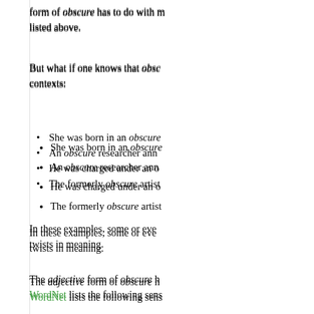form of obscure has to do with meanings listed above.
But what if one knows that obscure is used in the following contexts:
She was born in an obscure...
An obscure researcher ann...
He was charged under an o...
The formerly obscure artist...
In these examples, some or even all of the uses may involve twists in meaning.
The adjective form of obscure has multiple senses. WordNet lists the following senses:
not clearly understood
marked by difficulty of style...
difficult to find
not famous or acclaimed
not drawing attention
remote and separate physi...
That information is to...